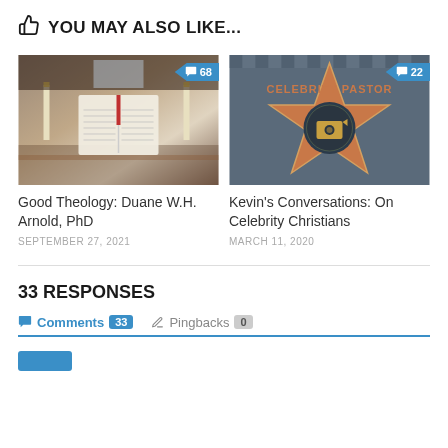👍 YOU MAY ALSO LIKE...
[Figure (photo): Open Bible on a stand with candles in a church setting, comment badge showing 68]
Good Theology: Duane W.H. Arnold, PhD
SEPTEMBER 27, 2021
[Figure (photo): Hollywood Walk of Fame star reading CELEBRITY PASTOR with camera icon, comment badge showing 22]
Kevin's Conversations: On Celebrity Christians
MARCH 11, 2020
33 RESPONSES
Comments 33   Pingbacks 0